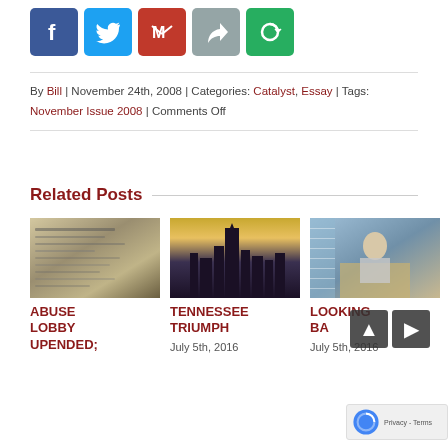[Figure (infographic): Social share buttons row: Facebook (blue), Twitter (light blue), Gmail (red), Share/forward (gray), Green circular arrow]
By Bill | November 24th, 2008 | Categories: Catalyst, Essay | Tags: November Issue 2008 | Comments Off
Related Posts
[Figure (photo): Close-up of newspaper print]
ABUSE LOBBY UPENDED;
[Figure (photo): City skyline at dusk with golden sky]
TENNESSEE TRIUMPH
July 5th, 2016
[Figure (photo): Man in office on phone, sitting at desk]
LOOKING BACK
July 5th, 2016